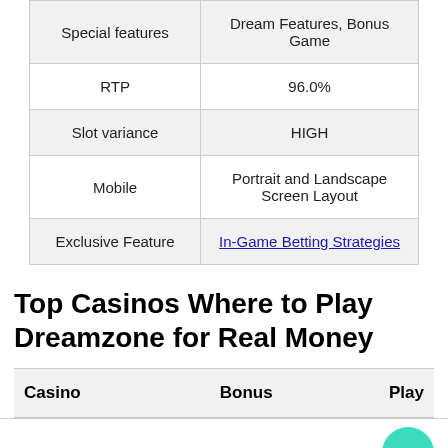|  |  |
| --- | --- |
| Special features | Dream Features, Bonus Game |
| RTP | 96.0% |
| Slot variance | HIGH |
| Mobile | Portrait and Landscape Screen Layout |
| Exclusive Feature | In-Game Betting Strategies |
Top Casinos Where to Play Dreamzone for Real Money
| Casino | Bonus | Play |
| --- | --- | --- |